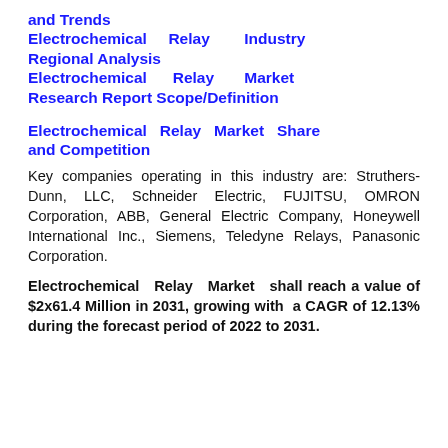and Trends Electrochemical Relay Industry Regional Analysis Electrochemical Relay Market Research Report Scope/Definition
Electrochemical Relay Market Share and Competition
Key companies operating in this industry are: Struthers-Dunn, LLC, Schneider Electric, FUJITSU, OMRON Corporation, ABB, General Electric Company, Honeywell International Inc., Siemens, Teledyne Relays, Panasonic Corporation.
Electrochemical Relay Market shall reach a value of $2x61.4 Million in 2031, growing with a CAGR of 12.13% during the forecast period of 2022 to 2031.